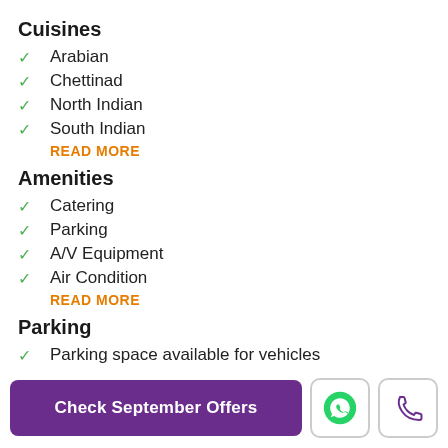Cuisines
Arabian
Chettinad
North Indian
South Indian
READ MORE
Amenities
Catering
Parking
A/V Equipment
Air Condition
READ MORE
Parking
Parking space available for vehicles
Terms and Conditions
All Government applicable taxes will be applied.
All Venue Rules Apply
Check September Offers